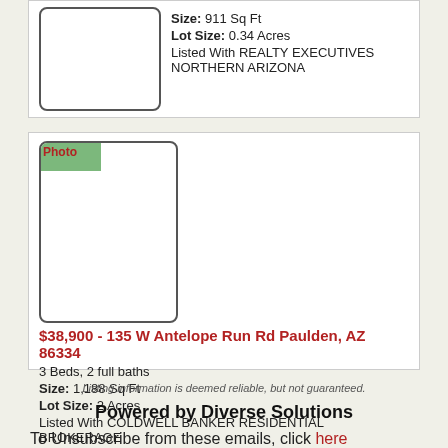[Figure (photo): Property photo placeholder (top listing) - shows broken image icon]
Size: 911 Sq Ft
Lot Size: 0.34 Acres
Listed With REALTY EXECUTIVES NORTHERN ARIZONA
[Figure (photo): Property photo placeholder for 135 W Antelope Run Rd - shows green corner and 'Photo' label]
$38,900 - 135 W Antelope Run Rd Paulden, AZ 86334
3 Beds, 2 full baths
Size: 1,188 Sq Ft
Lot Size: 2 Acres
Listed With COLDWELL BANKER RESIDENTIAL BROKERAGE
Listing information is deemed reliable, but not guaranteed.
Powered by Diverse Solutions
To Unsubscribe from these emails, click here
Unknown at 8:48 AM
Share